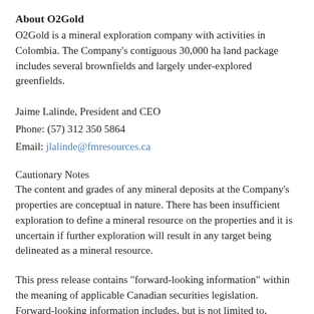About O2Gold
O2Gold is a mineral exploration company with activities in Colombia. The Company's contiguous 30,000 ha land package includes several brownfields and largely under-explored greenfields.
Jaime Lalinde, President and CEO
Phone: (57) 312 350 5864
Email: jlalinde@fmresources.ca
Cautionary Notes
The content and grades of any mineral deposits at the Company's properties are conceptual in nature. There has been insufficient exploration to define a mineral resource on the properties and it is uncertain if further exploration will result in any target being delineated as a mineral resource.
This press release contains "forward-looking information" within the meaning of applicable Canadian securities legislation. Forward-looking information includes, but is not limited to, statements with respect to the Company's business and operations and its planned work and exploration activities, particularly the forthcoming drill results at its Aurora property. Generally, forward-looking information can be identified by the use of forward-looking